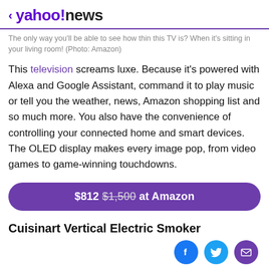< yahoo!news
The only way you'll be able to see how thin this TV is? When it's sitting in your living room! (Photo: Amazon)
This television screams luxe. Because it's powered with Alexa and Google Assistant, command it to play music or tell you the weather, news, Amazon shopping list and so much more. You also have the convenience of controlling your connected home and smart devices. The OLED display makes every image pop, from video games to game-winning touchdowns.
$812 $1,500 at Amazon
Cuisinart Vertical Electric Smoker
Social share icons: Facebook, Twitter, Email